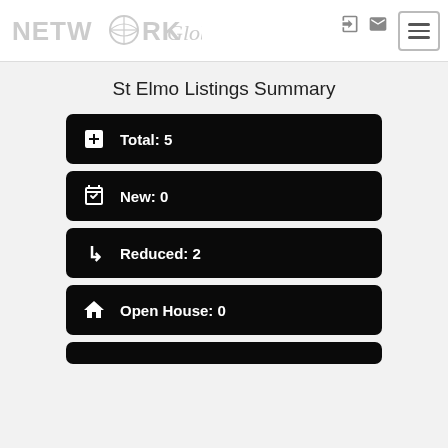[Figure (logo): Network Global real estate logo in light grey]
St Elmo Listings Summary
Total: 5
New: 0
Reduced: 2
Open House: 0